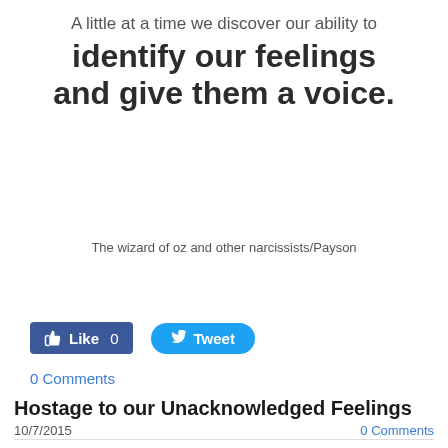A little at a time we discover our ability to
identify our feelings and give them a voice.
The wizard of oz and other narcissists/Payson
[Figure (other): Facebook Like button with count 0 and Twitter Tweet button]
0 Comments
Hostage to our Unacknowledged Feelings
10/7/2015
0 Comments